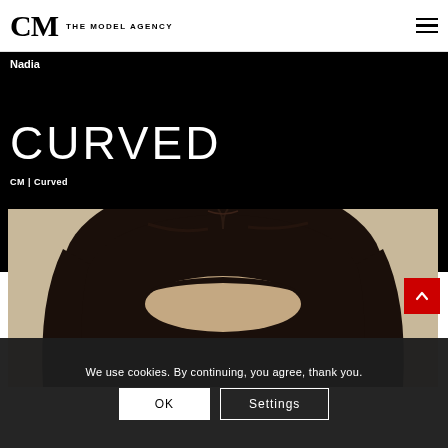CM THE MODEL AGENCY
Nadia
CURVED
CM | Curved
[Figure (photo): Close-up portrait of a dark-haired model, showing top of head and dark hair against a beige/cream background]
We use cookies. By continuing, you agree, thank you.
OK
Settings